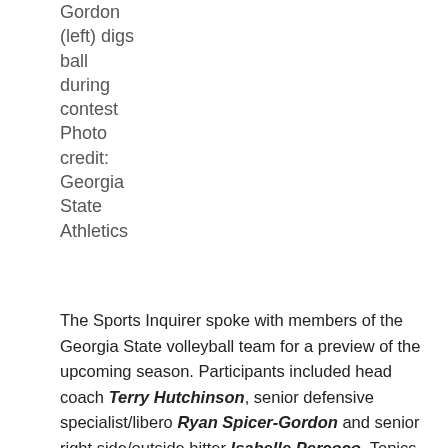Gordon (left) digs ball during contest Photo credit: Georgia State Athletics
The Sports Inquirer spoke with members of the Georgia State volleyball team for a preview of the upcoming season. Participants included head coach Terry Hutchinson, senior defensive specialist/libero Ryan Spicer-Gordon and senior right side/outside hitter Isabelle Percoco. Topics included Hutchinson entering his first season as head coach of the Panthers, the offseason, a breakdown of each position group and preparing to host